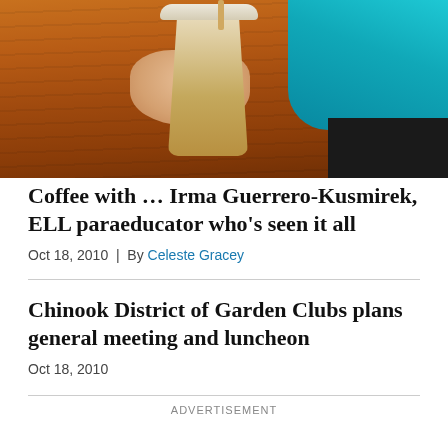[Figure (photo): Person in teal shirt holding an iced coffee cup on a wooden table]
Coffee with … Irma Guerrero-Kusmirek, ELL paraeducator who's seen it all
Oct 18, 2010  |  By Celeste Gracey
Chinook District of Garden Clubs plans general meeting and luncheon
Oct 18, 2010
ADVERTISEMENT